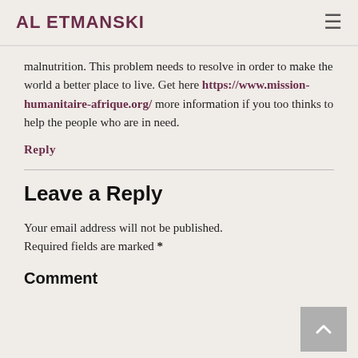AL ETMANSKI
malnutrition. This problem needs to resolve in order to make the world a better place to live. Get here https://www.mission-humanitaire-afrique.org/ more information if you too thinks to help the people who are in need.
Reply
Leave a Reply
Your email address will not be published. Required fields are marked *
Comment